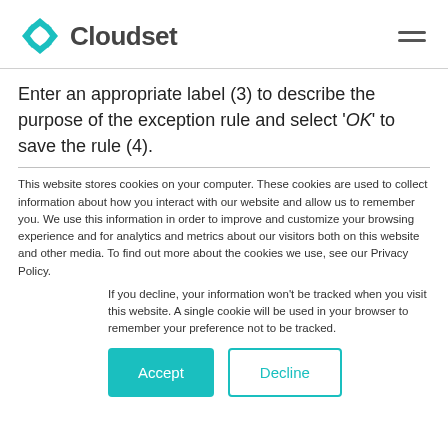Cloudset
Enter an appropriate label (3) to describe the purpose of the exception rule and select 'OK' to save the rule (4).
This website stores cookies on your computer. These cookies are used to collect information about how you interact with our website and allow us to remember you. We use this information in order to improve and customize your browsing experience and for analytics and metrics about our visitors both on this website and other media. To find out more about the cookies we use, see our Privacy Policy.
If you decline, your information won't be tracked when you visit this website. A single cookie will be used in your browser to remember your preference not to be tracked.